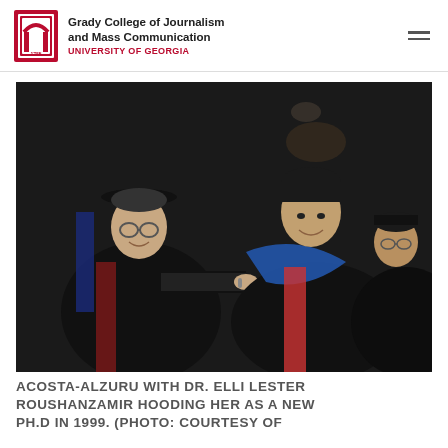Grady College of Journalism and Mass Communication UNIVERSITY OF GEORGIA
[Figure (photo): Three people in academic regalia at a graduation ceremony. A woman on the left is hooding a woman in the center (the new PhD), while a third person assists from the right. The person being hooded wears a blue doctoral hood over black academic robes.]
ACOSTA-ALZURU WITH DR. ELLI LESTER ROUSHANZAMIR HOODING HER AS A NEW PH.D IN 1999. (PHOTO: COURTESY OF